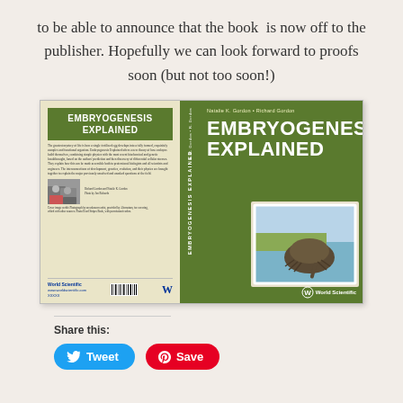to be able to announce that the book  is now off to the publisher. Hopefully we can look forward to proofs soon (but not too soon!)
[Figure (photo): Book cover of 'Embryogenesis Explained' by Natalie K. Gordon and Richard Gordon, published by World Scientific. The cover shows a green background with the title in large white bold text on the front, a spine with the title vertically, and the back cover with a description and author photo. A photo of a horseshoe crab on a beach is shown on the front cover.]
Share this:
Tweet
Save